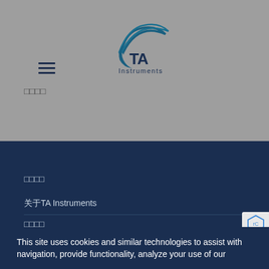[Figure (logo): TA Instruments logo with swoosh graphic above text]
□□□□
□□□□
关于TA Instruments
□□□□
This site uses cookies and similar technologies to assist with navigation, provide functionality, analyze your use of our